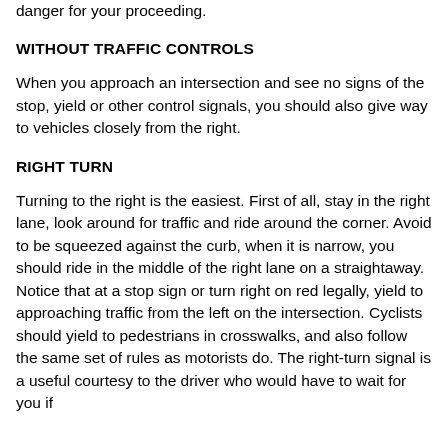danger for your proceeding.
WITHOUT TRAFFIC CONTROLS
When you approach an intersection and see no signs of the stop, yield or other control signals, you should also give way to vehicles closely from the right.
RIGHT TURN
Turning to the right is the easiest. First of all, stay in the right lane, look around for traffic and ride around the corner. Avoid to be squeezed against the curb, when it is narrow, you should ride in the middle of the right lane on a straightaway. Notice that at a stop sign or turn right on red legally, yield to approaching traffic from the left on the intersection. Cyclists should yield to pedestrians in crosswalks, and also follow the same set of rules as motorists do. The right-turn signal is a useful courtesy to the driver who would have to wait for you if